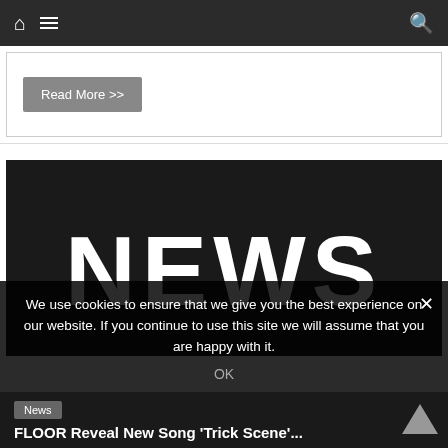[Figure (screenshot): Website navigation bar with home icon, hamburger menu icon on the left, and search icon on the right, dark background]
Read More >>
[Figure (illustration): Black background image with large white distressed/grunge-style text reading NEWS]
We use cookies to ensure that we give you the best experience on our website. If you continue to use this site we will assume that you are happy with it.
OK
News
FLOOR Reveal New Song 'Trick Scene'...